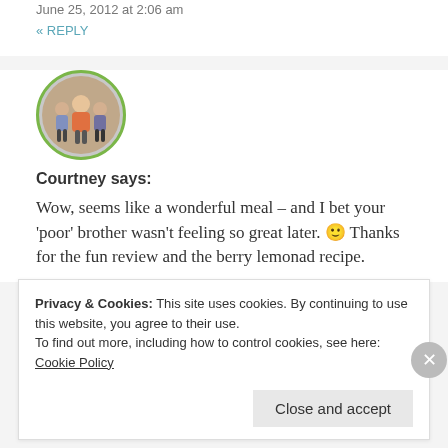June 25, 2012 at 2:06 am
« REPLY
[Figure (photo): Circular avatar photo of a woman with two children, bordered in green]
Courtney says:
Wow, seems like a wonderful meal – and I bet your 'poor' brother wasn't feeling so great later. 🙂 Thanks for the fun review and the berry lemonad recipe.
Privacy & Cookies: This site uses cookies. By continuing to use this website, you agree to their use.
To find out more, including how to control cookies, see here:
Cookie Policy
Close and accept